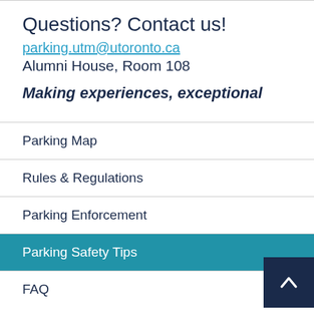Questions? Contact us!
parking.utm@utoronto.ca
Alumni House, Room 108
Making experiences, exceptional
Parking Map
Rules & Regulations
Parking Enforcement
Parking Safety Tips
FAQ